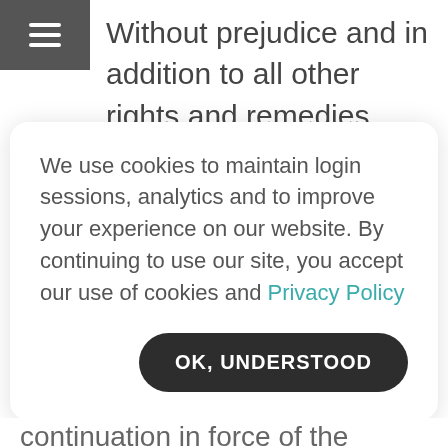☰
Without prejudice and in addition to all other rights and remedies which may arise from any breach of this Contract, in the event that this Contract is terminated for whatever reason prior to the work being completed by the Contractor, the Contractor shall be entitled to retain the 50% deposit paid on the commencement of the Contract and shall be entitled to such reasonable additional amount of the total charge as corresponds to the work completed in addition to any other payments or
We use cookies to maintain login sessions, analytics and to improve your experience on our website. By continuing to use our site, you accept our use of cookies and Privacy Policy
continuation in force of the remainder of the...